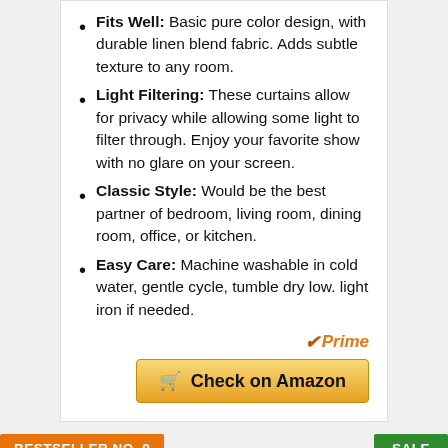Fits Well: Basic pure color design, with durable linen blend fabric. Adds subtle texture to any room.
Light Filtering: These curtains allow for privacy while allowing some light to filter through. Enjoy your favorite show with no glare on your screen.
Classic Style: Would be the best partner of bedroom, living room, dining room, office, or kitchen.
Easy Care: Machine washable in cold water, gentle cycle, tumble dry low. light iron if needed.
Prime
Check on Amazon
BESTSELLER NO. 9
SALE